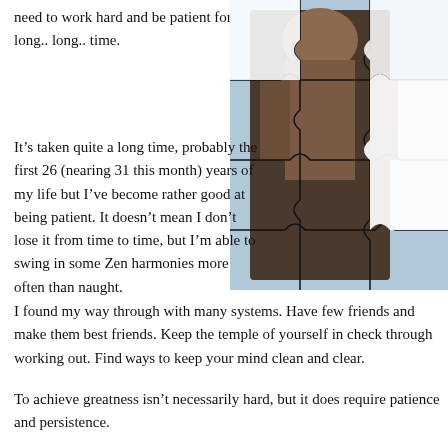need to work hard and be patient for a long.. long.. time.
[Figure (photo): A jigsaw puzzle image showing a muscular figure, partially assembled with missing pieces revealing a light background.]
It’s taken quite a long time, probably the first 26 (nearing 31 this month) years of my life but I’ve become rather good at being patient. It doesn’t mean I don’t lose it from time to time, but I’m able to swing in some Zen harmonies more often than naught.
I found my way through with many systems. Have few friends and make them best friends. Keep the temple of yourself in check through working out. Fin... to keep your mind clean and clear.
To achieve greatness isn’t necessarily hard, but it does require patience and persistence.